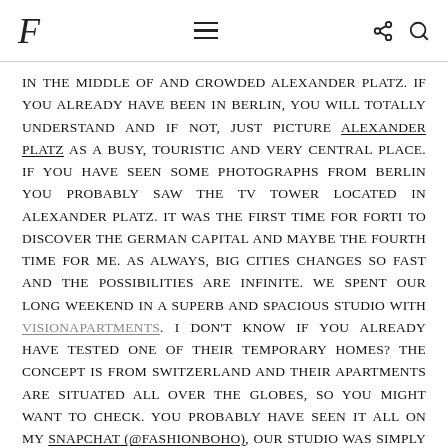F [logo] — hamburger menu, share icon, search icon
IN THE MIDDLE OF AND CROWDED ALEXANDER PLATZ. IF YOU ALREADY HAVE BEEN IN BERLIN, YOU WILL TOTALLY UNDERSTAND AND IF NOT, JUST PICTURE ALEXANDER PLATZ AS A BUSY, TOURISTIC AND VERY CENTRAL PLACE. IF YOU HAVE SEEN SOME PHOTOGRAPHS FROM BERLIN YOU PROBABLY SAW THE TV TOWER LOCATED IN ALEXANDER PLATZ. IT WAS THE FIRST TIME FOR FORTI TO DISCOVER THE GERMAN CAPITAL AND MAYBE THE FOURTH TIME FOR ME. AS ALWAYS, BIG CITIES CHANGES SO FAST AND THE POSSIBILITIES ARE INFINITE. WE SPENT OUR LONG WEEKEND IN A SUPERB AND SPACIOUS STUDIO WITH VISIONAPARTMENTS. I DON'T KNOW IF YOU ALREADY HAVE TESTED ONE OF THEIR TEMPORARY HOMES? THE CONCEPT IS FROM SWITZERLAND AND THEIR APARTMENTS ARE SITUATED ALL OVER THE GLOBES, SO YOU MIGHT WANT TO CHECK. YOU PROBABLY HAVE SEEN IT ALL ON MY SNAPCHAT (@FASHIONBOHO), OUR STUDIO WAS SIMPLY BEAUTIFUL. I AM NOT TALKING ABOUT DESIGN YET.

I LIVE IN LUCERNE IN A COSY AND CUTE ONE-ROOM APARTMENT, AND I